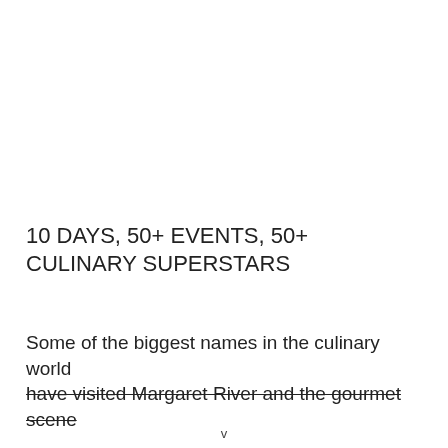10 DAYS, 50+ EVENTS, 50+ CULINARY SUPERSTARS
Some of the biggest names in the culinary world have visited Margaret River and the gourmet scene
v